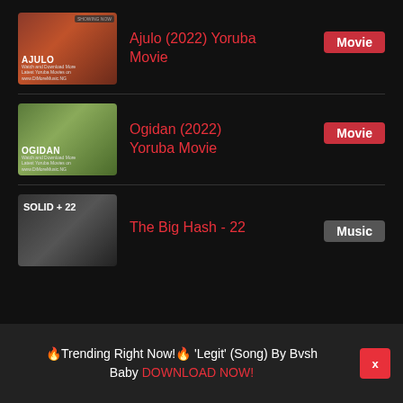[Figure (screenshot): Thumbnail for Ajulo 2022 Yoruba Movie with woman in orange clothing, text AJULO SHOWING NOW]
Ajulo (2022) Yoruba Movie
Movie
[Figure (screenshot): Thumbnail for Ogidan 2022 Yoruba Movie with man in patterned shirt, text OGIDAN]
Ogidan (2022) Yoruba Movie
Movie
[Figure (screenshot): Thumbnail for The Big Hash - 22 music, text SOLID + 22]
The Big Hash - 22
Music
🔥Trending Right Now!🔥 'Legit' (Song) By Bvsh Baby DOWNLOAD NOW!